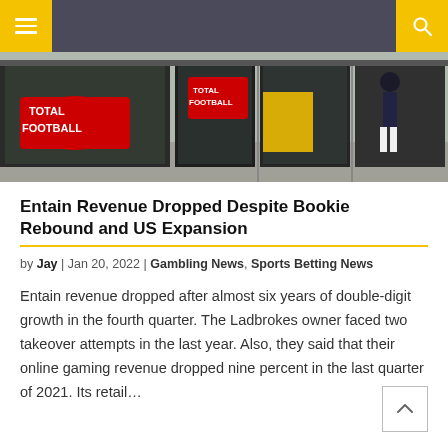Navigation bar with hamburger menu and search icon
[Figure (photo): Street-level photo of a betting shop exterior showing 'Total Football' promotional signage on windows, with a pedestrian visible on the pavement outside]
Entain Revenue Dropped Despite Bookie Rebound and US Expansion
by Jay | Jan 20, 2022 | Gambling News, Sports Betting News
Entain revenue dropped after almost six years of double-digit growth in the fourth quarter. The Ladbrokes owner faced two takeover attempts in the last year. Also, they said that their online gaming revenue dropped nine percent in the last quarter of 2021. Its retail...